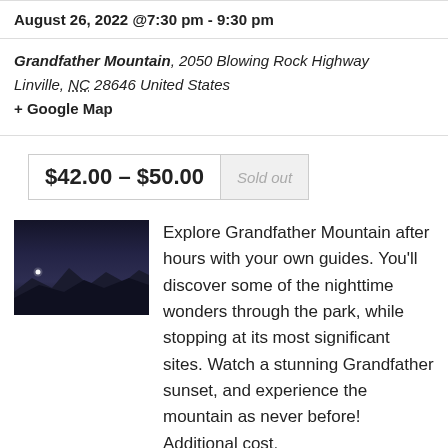August 26, 2022 @7:30 pm - 9:30 pm
Grandfather Mountain, 2050 Blowing Rock Highway Linville, NC 28646 United States
+ Google Map
$42.00 – $50.00  Sold out
[Figure (photo): Night sky photo showing mountain silhouette with a single bright star or moon visible against a dark blue-purple sky]
Explore Grandfather Mountain after hours with your own guides. You'll discover some of the nighttime wonders through the park, while stopping at its most significant sites. Watch a stunning Grandfather sunset, and experience the mountain as never before! Additional cost.
Find out more »